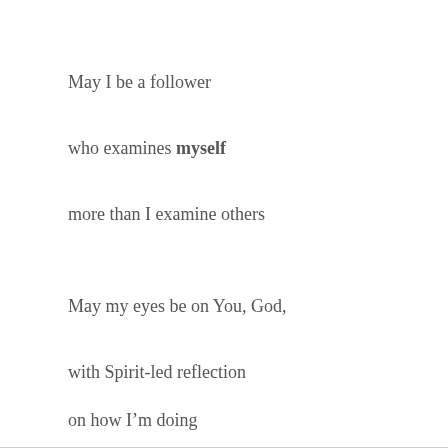May I be a follower
who examines myself
more than I examine others
May my eyes be on You, God,
with Spirit-led reflection
on how I’m doing